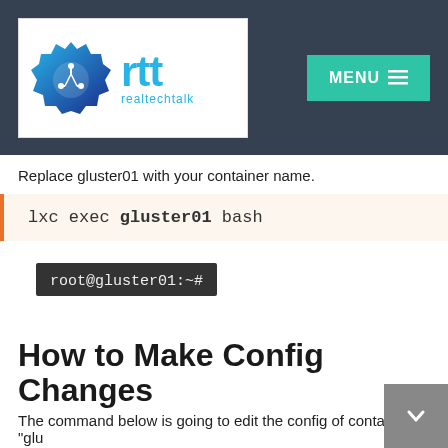[Figure (logo): realtechtalk (rtt) logo with gear/circuit icon and teal letters, inside white box on dark header]
Replace gluster01 with your container name.
lxc exec gluster01 bash
[Figure (screenshot): Terminal screenshot showing root@gluster01:~# prompt on dark background]
How to Make Config Changes
The command below is going to edit the config of container "glu